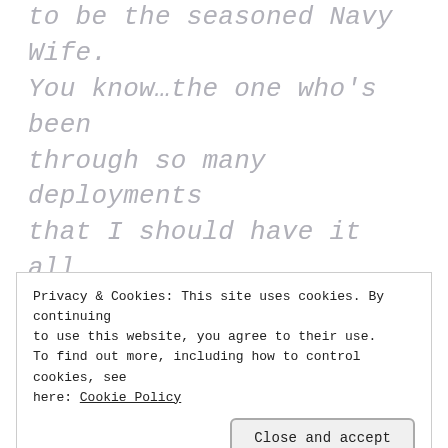to be the seasoned Navy Wife. You know…the one who's been through so many deployments that I should have it all together by now. Let me tell you this…it's never easy. Each night I tuck my kids into bed and my husband isn't home with us I'm reminded how exhausting this gig of Navy Wife really
Privacy & Cookies: This site uses cookies. By continuing to use this website, you agree to their use. To find out more, including how to control cookies, see here: Cookie Policy